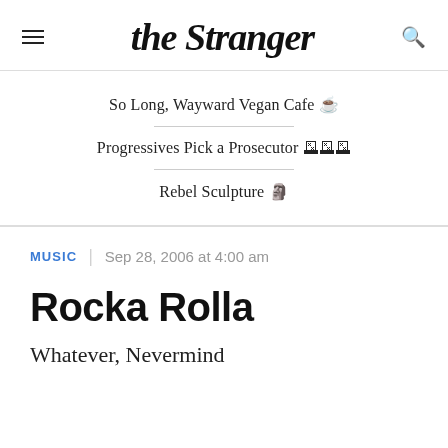the Stranger
So Long, Wayward Vegan Cafe ☕
Progressives Pick a Prosecutor 🗳️
Rebel Sculpture 🗿
MUSIC | Sep 28, 2006 at 4:00 am
Rocka Rolla
Whatever, Nevermind